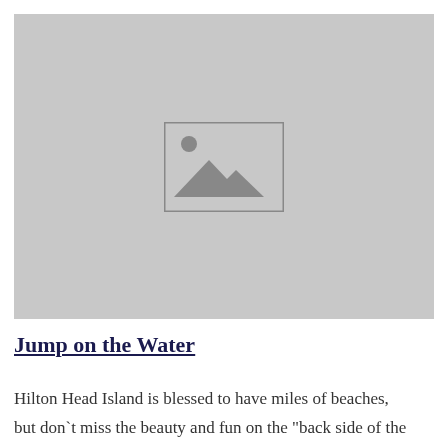[Figure (photo): Placeholder image with grey background and image icon (mountains and sun) in the center]
Jump on the Water
Hilton Head Island is blessed to have miles of beaches, but don`t miss the beauty and fun on the "back side of the